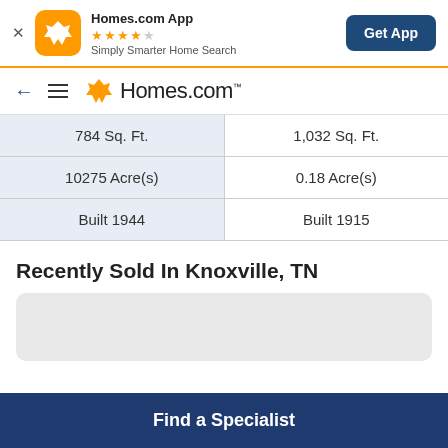[Figure (screenshot): Homes.com App banner with orange icon, star rating, tagline, and Get App button]
[Figure (logo): Homes.com navigation bar with back arrow, menu icon, and Homes.com logo]
| 784 Sq. Ft. | 1,032 Sq. Ft. |
| 10275 Acre(s) | 0.18 Acre(s) |
| Built 1944 | Built 1915 |
Recently Sold In Knoxville, TN
Find a Specialist